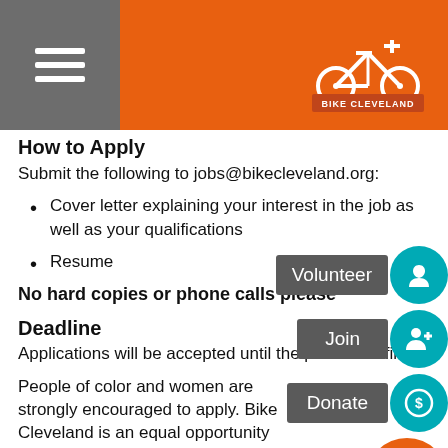Bike Cleveland
How to Apply
Submit the following to jobs@bikecleveland.org:
Cover letter explaining your interest in the job as well as your qualifications
Resume
No hard copies or phone calls please
Deadline
Applications will be accepted until the position is filled.
People of color and women are strongly encouraged to apply. Bike Cleveland is an equal opportunity employer and does not discriminate on the basis of race, ethnicity, age, religion, gender, sexual orientation or political orientation.